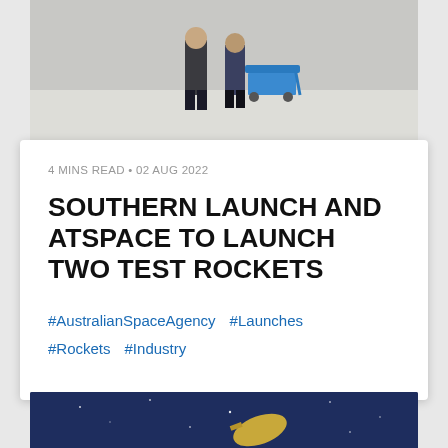[Figure (photo): Two people standing in a warehouse/facility with a blue equipment cart/trolley on a light grey floor]
4 MINS READ • 02 AUG 2022
SOUTHERN LAUNCH AND ATSPACE TO LAUNCH TWO TEST ROCKETS
#AustralianSpaceAgency  #Launches  #Rockets  #Industry
[Figure (photo): Spacecraft or satellite against a dark blue starry sky background]